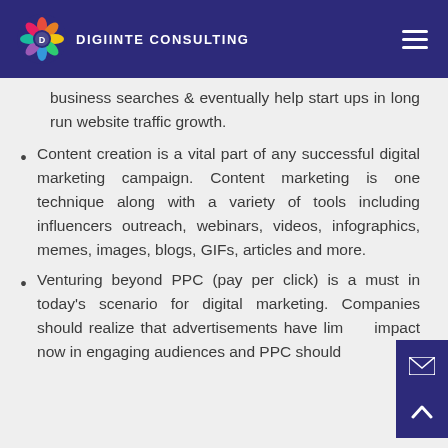Digiinte Consulting
business searches & eventually help start ups in long run website traffic growth.
Content creation is a vital part of any successful digital marketing campaign. Content marketing is one technique along with a variety of tools including influencers outreach, webinars, videos, infographics, memes, images, blogs, GIFs, articles and more.
Venturing beyond PPC (pay per click) is a must in today's scenario for digital marketing. Companies should realize that advertisements have limited impact now in engaging audiences and PPC should not be the only lead generation tactic.